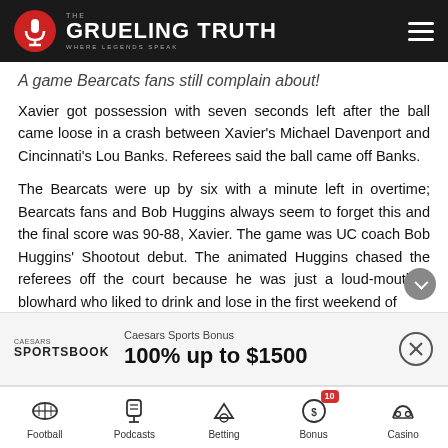The Grueling Truth — Where Legends Speak
A game Bearcats fans still complain about!
Xavier got possession with seven seconds left after the ball came loose in a crash between Xavier's Michael Davenport and Cincinnati's Lou Banks. Referees said the ball came off Banks.
The Bearcats were up by six with a minute left in overtime; Bearcats fans and Bob Huggins always seem to forget this and the final score was 90-88, Xavier. The game was UC coach Bob Huggins' Shootout debut. The animated Huggins chased the referees off the court because he was just a loud-mouthed blowhard who liked to drink and lose in the first weekend of
[Figure (infographic): Caesars Sports Bonus advertisement: 100% up to $1500]
Football | Podcasts | Betting | Bonus (10) | Casino